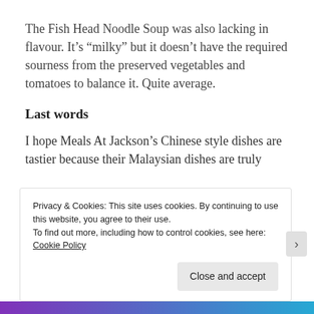The Fish Head Noodle Soup was also lacking in flavour. It’s “milky” but it doesn’t have the required sourness from the preserved vegetables and tomatoes to balance it. Quite average.
Last words
I hope Meals At Jackson’s Chinese style dishes are tastier because their Malaysian dishes are truly
Privacy & Cookies: This site uses cookies. By continuing to use this website, you agree to their use.
To find out more, including how to control cookies, see here: Cookie Policy
Close and accept